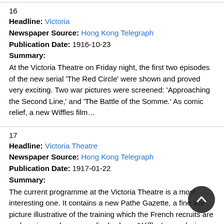16
Headline: Victoria
Newspaper Source: Hong Kong Telegraph
Publication Date: 1916-10-23
Summary:
At the Victoria Theatre on Friday night, the first two episodes of the new serial 'The Red Circle' were shown and proved very exciting. Two war pictures were screened: 'Approaching the Second Line,' and 'The Battle of the Somme.' As comic relief, a new Wiffles film…
17
Headline: Victoria Theatre
Newspaper Source: Hong Kong Telegraph
Publication Date: 1917-01-22
Summary:
The current programme at the Victoria Theatre is a most interesting one. It contains a new Pathe Gazette, a fine war picture illustrative of the training which the French recruits are undergoing and an exceedingly clever 'Wiffles' comedy, in which M. Prince appears in